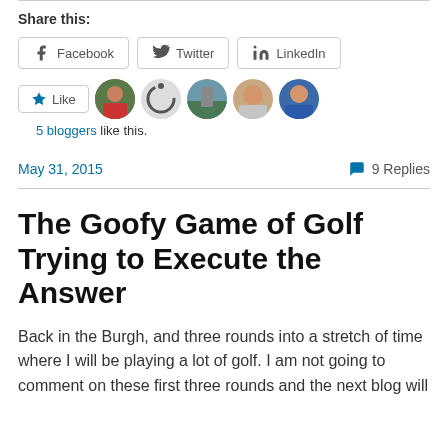Share this:
Facebook  Twitter  LinkedIn
[Figure (other): Like button and blogger avatars row; 5 bloggers like this.]
5 bloggers like this.
May 31, 2015   9 Replies
The Goofy Game of Golf Trying to Execute the Answer
Back in the Burgh, and three rounds into a stretch of time where I will be playing a lot of golf. I am not going to comment on these first three rounds and the next blog will